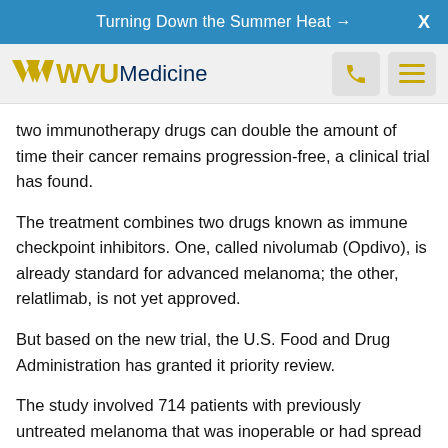Turning Down the Summer Heat →  X
[Figure (logo): WVU Medicine logo with flying WV in gold and text navigation bar with phone and menu icons]
two immunotherapy drugs can double the amount of time their cancer remains progression-free, a clinical trial has found.
The treatment combines two drugs known as immune checkpoint inhibitors. One, called nivolumab (Opdivo), is already standard for advanced melanoma; the other, relatlimab, is not yet approved.
But based on the new trial, the U.S. Food and Drug Administration has granted it priority review.
The study involved 714 patients with previously untreated melanoma that was inoperable or had spread to other body sites. Researchers found that patients given the Opdivo/relatlimab combo typically went twice as long without their disease getting worse, versus those given Opdivo alone.